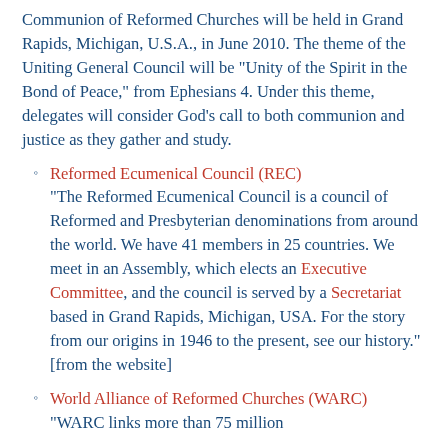Communion of Reformed Churches will be held in Grand Rapids, Michigan, U.S.A., in June 2010. The theme of the Uniting General Council will be "Unity of the Spirit in the Bond of Peace," from Ephesians 4. Under this theme, delegates will consider God's call to both communion and justice as they gather and study.
Reformed Ecumenical Council (REC) "The Reformed Ecumenical Council is a council of Reformed and Presbyterian denominations from around the world. We have 41 members in 25 countries. We meet in an Assembly, which elects an Executive Committee, and the council is served by a Secretariat based in Grand Rapids, Michigan, USA. For the story from our origins in 1946 to the present, see our history." [from the website]
World Alliance of Reformed Churches (WARC) "WARC links more than 75 million